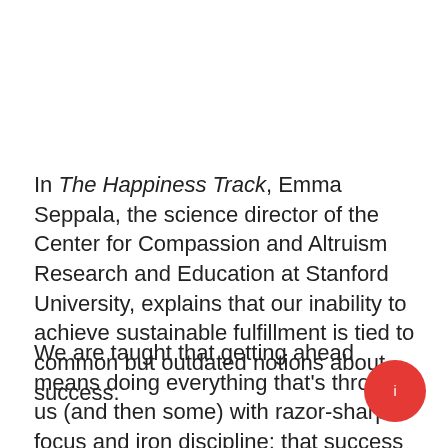In The Happiness Track, Emma Seppala, the science director of the Center for Compassion and Altruism Research and Education at Stanford University, explains that our inability to achieve sustainable fulfillment is tied to common but outdated notions about success.
We are taught that getting ahead means doing everything that's thrown at us (and then some) with razor-sharp focus and iron discipline; that success depends on our drive and talents; and that achievement cannot happen without stress.